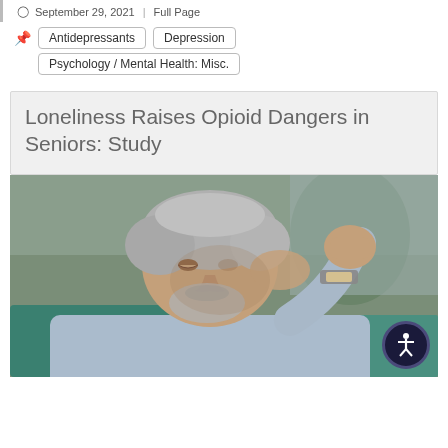September 29, 2021 | Full Page
Antidepressants
Depression
Psychology / Mental Health: Misc.
Loneliness Raises Opioid Dangers in Seniors: Study
[Figure (photo): An elderly man with grey hair and beard, wearing a light blue shirt and watch, sitting with his fist pressed to his forehead in a pose suggesting distress or worry.]